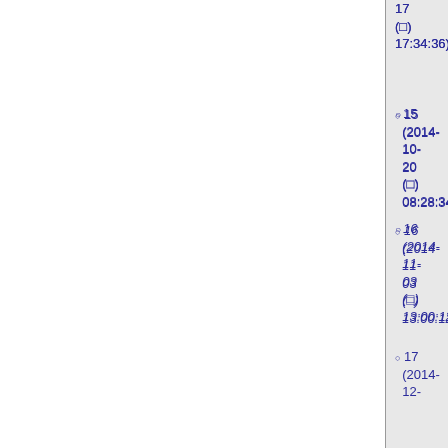17 (□) 17:34:36)
15 (2014-10-20 (□) 08:28:34)
16 (2014-11-03 (□) 13:00:12)
17 (2014-12-16 (□) 16:42:34)
18 (2015-01-06